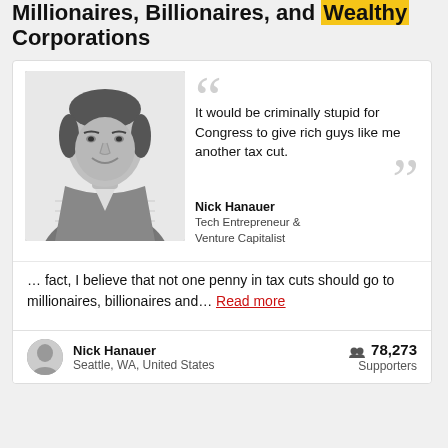Millionaires, Billionaires, and Wealthy Corporations
[Figure (photo): Black and white photo of Nick Hanauer, a man in a checkered shirt, smiling]
It would be criminally stupid for Congress to give rich guys like me another tax cut.
Nick Hanauer
Tech Entrepreneur & Venture Capitalist
… fact, I believe that not one penny in tax cuts should go to millionaires, billionaires and… Read more
Nick Hanauer
Seattle, WA, United States
78,273 Supporters